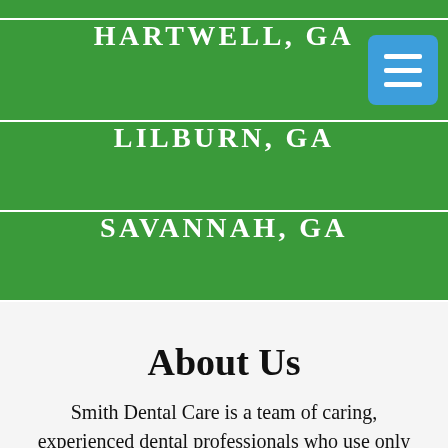HARTWELL, GA
LILBURN, GA
SAVANNAH, GA
About Us
Smith Dental Care is a team of caring, experienced dental professionals who use only the most advanced technologies, materials & procedures &